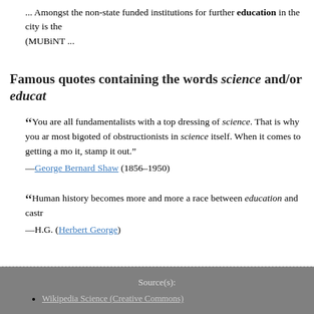... Amongst the non-state funded institutions for further education in the city is the (MUBiNT ...
Famous quotes containing the words science and/or educat
“ You are all fundamentalists with a top dressing of science. That is why you ar most bigoted of obstructionists in science itself. When it comes to getting a mo it, stamp it out.” —George Bernard Shaw (1856–1950)
“ Human history becomes more and more a race between education and castr —H.G. (Herbert George)
Source(s): Wikipedia Science (Creative Commons)